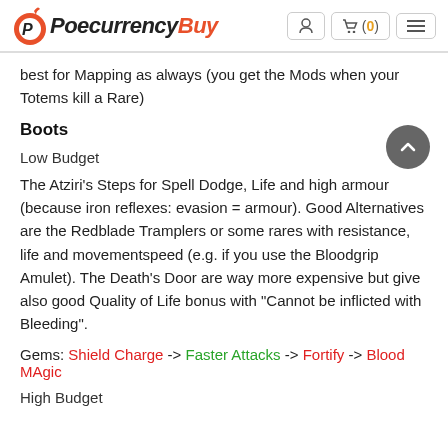PoecurrencyBuy | Cart (0)
best for Mapping as always (you get the Mods when your Totems kill a Rare)
Boots
Low Budget
The Atziri's Steps for Spell Dodge, Life and high armour (because iron reflexes: evasion = armour). Good Alternatives are the Redblade Tramplers or some rares with resistance, life and movementspeed (e.g. if you use the Bloodgrip Amulet). The Death's Door are way more expensive but give also good Quality of Life bonus with "Cannot be inflicted with Bleeding".
Gems: Shield Charge -> Faster Attacks -> Fortify -> Blood MAgic
High Budget